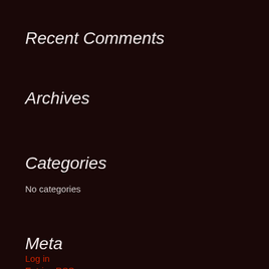Recent Comments
Archives
Categories
No categories
Meta
Log in
Entries RSS